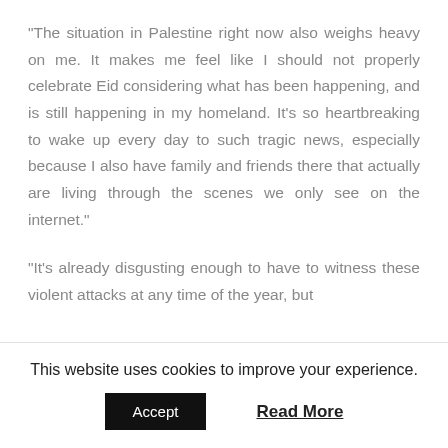“The situation in Palestine right now also weighs heavy on me. It makes me feel like I should not properly celebrate Eid considering what has been happening, and is still happening in my homeland. It’s so heartbreaking to wake up every day to such tragic news, especially because I also have family and friends there that actually are living through the scenes we only see on the internet.”
“It’s already disgusting enough to have to witness these violent attacks at any time of the year, but
This website uses cookies to improve your experience.
Accept
Read More